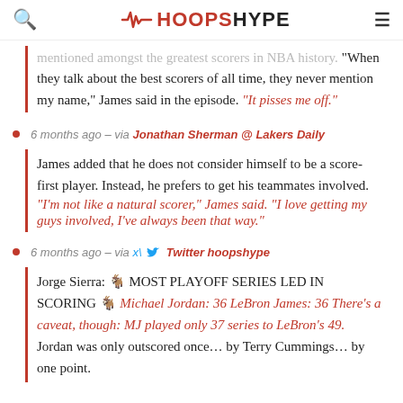HOOPSHYPE
mentioned amongst the greatest scorers in NBA history. "When they talk about the best scorers of all time, they never mention my name," James said in the episode. "It pisses me off."
6 months ago – via Jonathan Sherman @ Lakers Daily
James added that he does not consider himself to be a score-first player. Instead, he prefers to get his teammates involved. "I'm not like a natural scorer," James said. "I love getting my guys involved, I've always been that way."
6 months ago – via Twitter hoopshype
Jorge Sierra: 🐐 MOST PLAYOFF SERIES LED IN SCORING 🐐 Michael Jordan: 36 LeBron James: 36 There's a caveat, though: MJ played only 37 series to LeBron's 49. Jordan was only outscored once… by Terry Cummings… by one point.